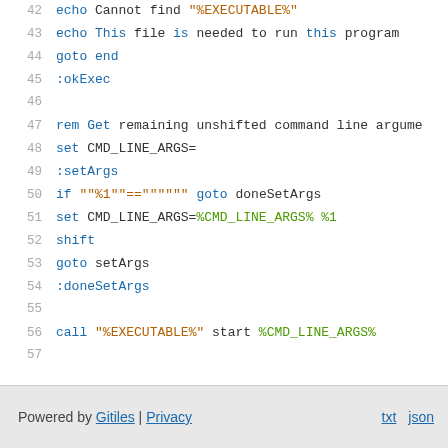42  echo Cannot find "%EXECUTABLE%"
43  echo This file is needed to run this program
44  goto end
45  :okExec
46  
47  rem Get remaining unshifted command line argume...
48  set CMD_LINE_ARGS=
49  :setArgs
50  if ""%1""=="""" goto doneSetArgs
51  set CMD_LINE_ARGS=%CMD_LINE_ARGS% %1
52  shift
53  goto setArgs
54  :doneSetArgs
55  
56  call "%EXECUTABLE%" start %CMD_LINE_ARGS%
57  
58  :end
Powered by Gitiles | Privacy    txt  json